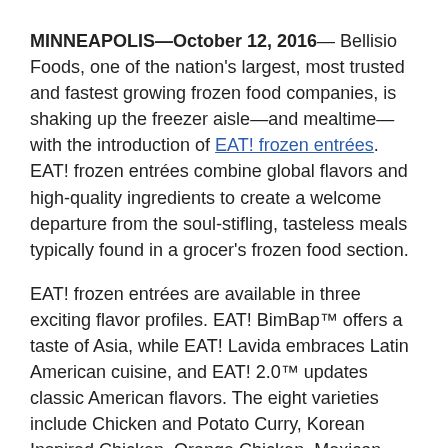MINNEAPOLIS—October 12, 2016— Bellisio Foods, one of the nation's largest, most trusted and fastest growing frozen food companies, is shaking up the freezer aisle—and mealtime—with the introduction of EAT! frozen entrées. EAT! frozen entrées combine global flavors and high-quality ingredients to create a welcome departure from the soul-stifling, tasteless meals typically found in a grocer's frozen food section.
EAT! frozen entrées are available in three exciting flavor profiles. EAT! BimBap™ offers a taste of Asia, while EAT! Lavida embraces Latin American cuisine, and EAT! 2.0™ updates classic American flavors. The eight varieties include Chicken and Potato Curry, Korean Inspired Chicken, Orange Chicken, Mexican Style Mac & Cheese with Uncured Bacon, Tomatillo Chicken, Chicken Penne Primavera, Honey Balsamic Chicken, and Lemon Herb Chicken.
Made with real, authentic ingredients, most EAT! frozen